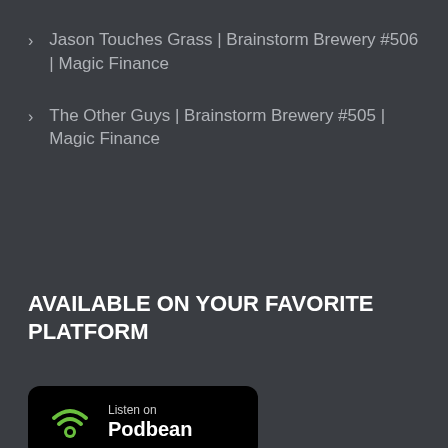Jason Touches Grass | Brainstorm Brewery #506 | Magic Finance
The Other Guys | Brainstorm Brewery #505 | Magic Finance
AVAILABLE ON YOUR FAVORITE PLATFORM
[Figure (logo): Podbean podcast platform badge with wifi/speaker icon in green, text 'Listen on Podbean' on black rounded rectangle background]